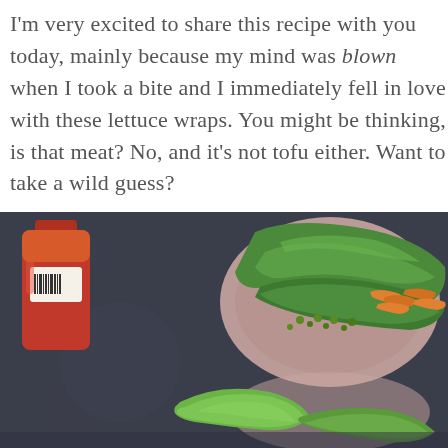I'm very excited to share this recipe with you today, mainly because my mind was blown when I took a bite and I immediately fell in love with these lettuce wraps. You might be thinking, is that meat? No, and it's not tofu either. Want to take a wild guess?
[Figure (photo): Food photo showing a plate with green lettuce wraps filled with vegetables including shredded carrots and green herbs/edamame, placed on a dark slate surface. A red hot sauce bottle is visible in the background left. A loose piece of lettuce is visible in the foreground bottom.]